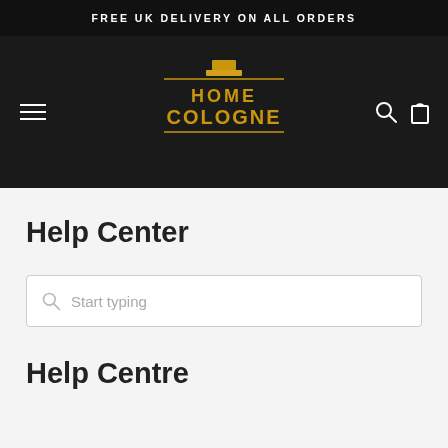FREE UK DELIVERY ON ALL ORDERS
[Figure (logo): Home Cologne logo with gold perfume bottle icon and gold text on dark background, with hamburger menu icon on left and search/cart icons on right]
Help Center
Start typing (search box placeholder)
Help Centre